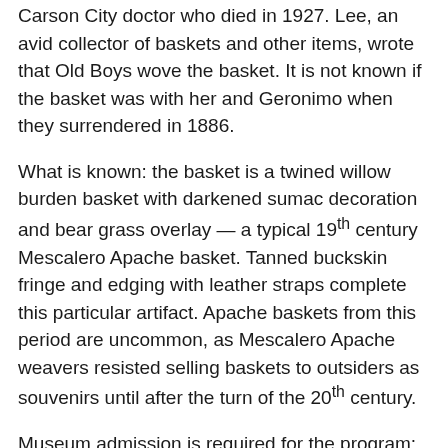Carson City doctor who died in 1927. Lee, an avid collector of baskets and other items, wrote that Old Boys wove the basket. It is not known if the basket was with her and Geronimo when they surrendered in 1886.
What is known: the basket is a twined willow burden basket with darkened sumac decoration and bear grass overlay — a typical 19th century Mescalero Apache basket. Tanned buckskin fringe and edging with leather straps complete this particular artifact. Apache baskets from this period are uncommon, as Mescalero Apache weavers resisted selling baskets to outsiders as souvenirs until after the turn of the 20th century.
Museum admission is required for the program: $8 adults, free for children ages 17 and younger. All visitors and staff must wear a face covering while in the museum and maintain 6 feet of distance from